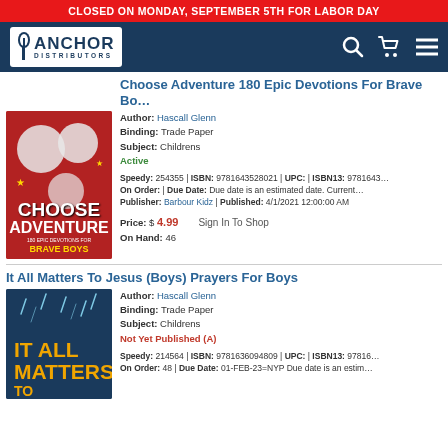CLOSED ON MONDAY, SEPTEMBER 5TH FOR LABOR DAY
[Figure (logo): Anchor Distributors logo with navigation icons]
Choose Adventure 180 Epic Devotions For Brave Boys
Author: Hascall Glenn | Binding: Trade Paper | Subject: Childrens | Active
Speedy: 254355 | ISBN: 9781643528021 | UPC: | ISBN13: 9781643... | On Order: | Due Date: Due date is an estimated date. Current... | Publisher: Barbour Kidz | Published: 4/1/2021 12:00:00 AM
Price: $ 4.99 | On Hand: 46 | Sign In To Shop
[Figure (illustration): Book cover: Choose Adventure 180 Epic Devotions for Brave Boys]
It All Matters To Jesus (Boys) Prayers For Boys
Author: Hascall Glenn | Binding: Trade Paper | Subject: Childrens | Not Yet Published (A)
Speedy: 214564 | ISBN: 9781636094809 | UPC: | ISBN13: 9781636... | On Order: 48 | Due Date: 01-FEB-23=NYP Due date is an estim...
[Figure (illustration): Book cover: It All Matters To Jesus (Boys) Prayers For Boys]